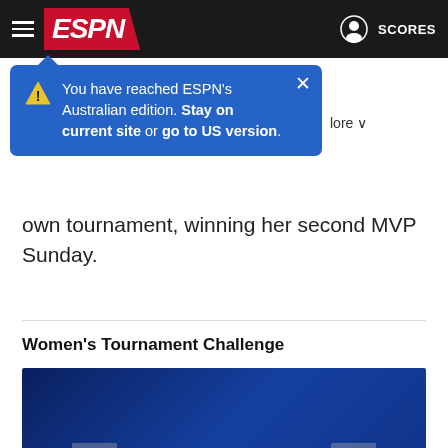ESPN navigation bar with hamburger menu, ESPN logo, user icon, and SCORES
[Figure (screenshot): Blue tooltip popup: 'You have reached ESPN's Australian edition. Stay on current site or go to US version.']
...own tournament, winning her second MVP Sunday.
Women's Tournament Challenge
[Figure (illustration): ESPN Women's Tournament Challenge promotional image on dark blue background with bracket graphics and logo]